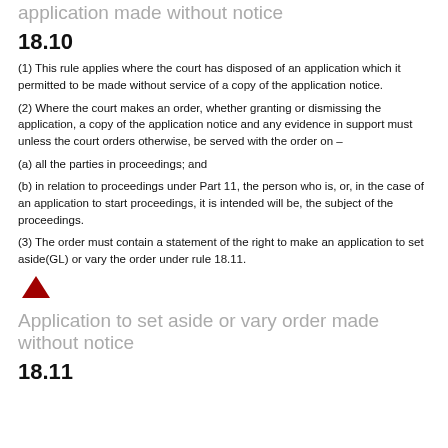application made without notice
18.10
(1) This rule applies where the court has disposed of an application which it permitted to be made without service of a copy of the application notice.
(2) Where the court makes an order, whether granting or dismissing the application, a copy of the application notice and any evidence in support must unless the court orders otherwise, be served with the order on –
(a) all the parties in proceedings; and
(b) in relation to proceedings under Part 11, the person who is, or, in the case of an application to start proceedings, it is intended will be, the subject of the proceedings.
(3) The order must contain a statement of the right to make an application to set aside(GL) or vary the order under rule 18.11.
[Figure (illustration): A red upward-pointing triangle icon]
Application to set aside or vary order made without notice
18.11